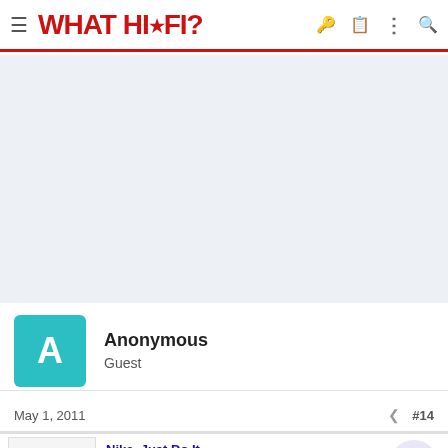WHAT HI·FI?
[Figure (other): Light blue-grey advertisement placeholder area]
Anonymous
Guest
May 1, 2011  #14
[Figure (screenshot): Nike advertisement banner: 'Nike. Just Do It' - Inspiring the world's athletes, Nike delivers the deals. www.nike.com]